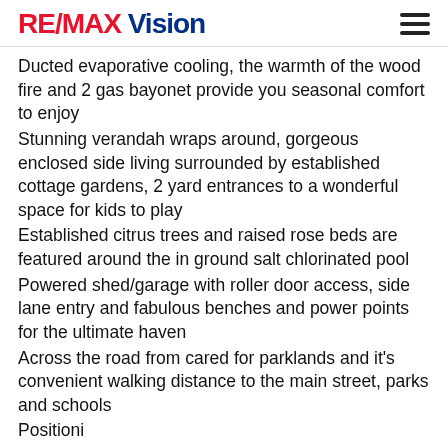RE/MAX Vision
Ducted evaporative cooling, the warmth of the wood fire and 2 gas bayonet provide you seasonal comfort to enjoy
Stunning verandah wraps around, gorgeous enclosed side living surrounded by established cottage gardens, 2 yard entrances to a wonderful space for kids to play
Established citrus trees and raised rose beds are featured around the in ground salt chlorinated pool
Powered shed/garage with roller door access, side lane entry and fabulous benches and power points for the ultimate haven
Across the road from cared for parklands and it's convenient walking distance to the main street, parks and schools
Positioni...